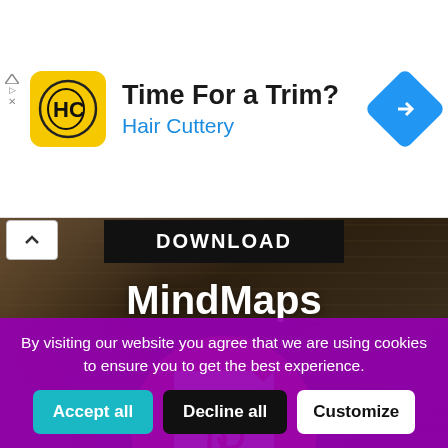[Figure (screenshot): Advertisement banner for Hair Cuttery with yellow logo showing HC letters, text 'Time For a Trim?' and 'Hair Cuttery' in blue, and a blue navigation diamond icon on the right. Small triangular ad indicators on the left.]
[Figure (screenshot): Dark background with stacked books texture. Contains a black 'DOWNLOAD' button bar at top with a white collapse arrow button on the left. Large white bold text 'MindMaps' in center. Below that a red circle containing a PDF file icon with Adobe Acrobat logo in red and bold 'PDF' text. At the bottom a purple/magenta cookie consent bar with text 'By visiting our website you agree that we are using cookies to ensure you to get the best experience.' and three buttons: teal 'Accept all', black 'Decline all', white 'Customize'.]